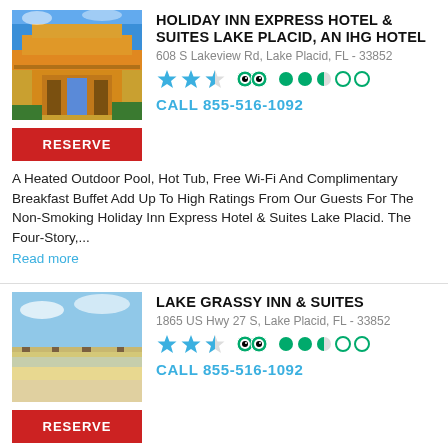[Figure (photo): Holiday Inn Express Hotel photo showing the hotel exterior with blue sky]
HOLIDAY INN EXPRESS HOTEL & SUITES LAKE PLACID, AN IHG HOTEL
608 S Lakeview Rd, Lake Placid, FL - 33852
Star rating: 2.5 stars, TripAdvisor: 2.5 out of 5 circles
CALL 855-516-1092
RESERVE
A Heated Outdoor Pool, Hot Tub, Free Wi-Fi And Complimentary Breakfast Buffet Add Up To High Ratings From Our Guests For The Non-Smoking Holiday Inn Express Hotel & Suites Lake Placid. The Four-Story,...
Read more
[Figure (photo): Lake Grassy Inn & Suites photo showing lakefront with trees and sandy shore]
LAKE GRASSY INN & SUITES
1865 US Hwy 27 S, Lake Placid, FL - 33852
Star rating: 2.5 stars, TripAdvisor: 2.5 out of 5 circles
CALL 855-516-1092
RESERVE
Nestled Between Lake Pearl And Lake Mccoy, This Lakefront